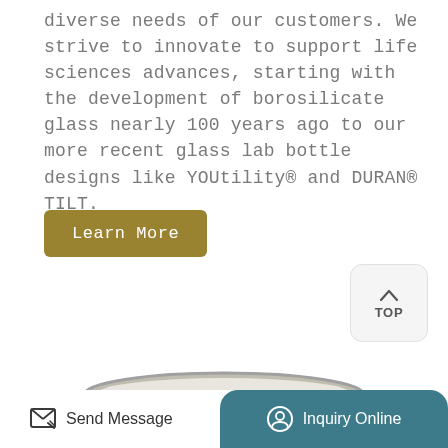diverse needs of our customers. We strive to innovate to support life sciences advances, starting with the development of borosilicate glass nearly 100 years ago to our more recent glass lab bottle designs like YOUtility® and DURAN® TILT.
Learn More
[Figure (other): TOP navigation button with upward chevron arrow]
[Figure (photo): A cylindrical glass lab bottle viewed from above at an angle, showing a beige/cream colored body with a metallic silver rim at the top]
Send Message
Inquiry Online